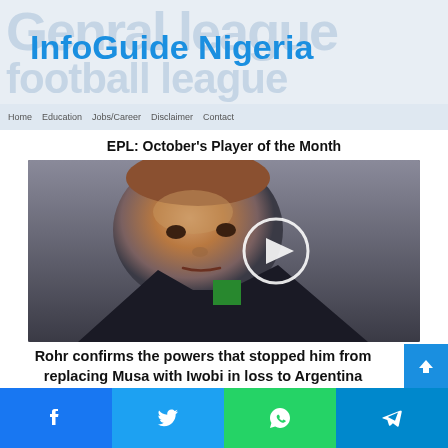InfoGuide Nigeria
EPL: October’s Player of the Month
[Figure (photo): Photo of Gernot Rohr, Nigerian football team coach, with a play button overlay indicating a video link]
Rohr confirms the powers that stopped him from replacing Musa with Iwobi in loss to Argentina